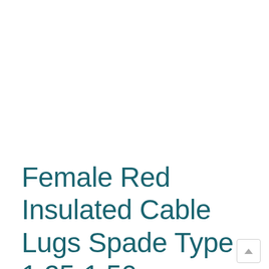Female Red Insulated Cable Lugs Spade Type 1.25-1.50mm (Pack of 50) – FDD1